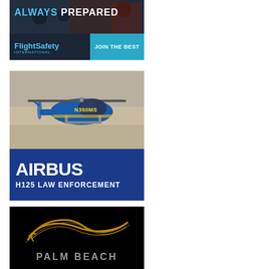[Figure (illustration): FlightSafety International advertisement with cockpit photo background, text 'ALWAYS PREPARED', FlightSafety International logo, and 'JOIN THE BEST' button]
[Figure (illustration): Airbus advertisement showing blue helicopter (N350MS) in flight with 'AIRBUS H125 LAW ENFORCEMENT' text on blue background]
[Figure (illustration): Palm Beach advertisement with black background, gold swoosh logo, and 'PALM BEACH' text in gray]